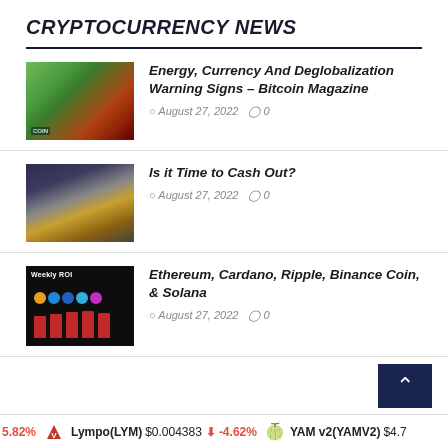CRYPTOCURRENCY NEWS
Energy, Currency And Deglobalization Warning Signs – Bitcoin Magazine | August 27, 2022 | 0 comments
Is it Time to Cash Out? | August 27, 2022 | 0 comments
Ethereum, Cardano, Ripple, Binance Coin, & Solana | August 27, 2022 | 0 comments
5.82% | Lympo(LYM) $0.004383 ↓ -4.62% | YAM v2(YAMV2) $4.7